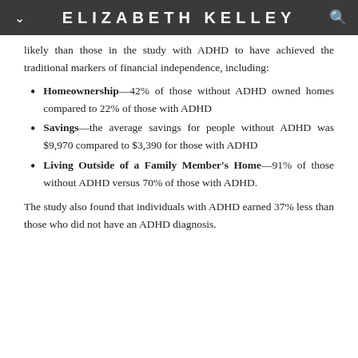ELIZABETH KELLEY
likely than those in the study with ADHD to have achieved the traditional markers of financial independence, including:
Homeownership—42% of those without ADHD owned homes compared to 22% of those with ADHD
Savings—the average savings for people without ADHD was $9,970 compared to $3,390 for those with ADHD
Living Outside of a Family Member's Home—91% of those without ADHD versus 70% of those with ADHD.
The study also found that individuals with ADHD earned 37% less than those who did not have an ADHD diagnosis.